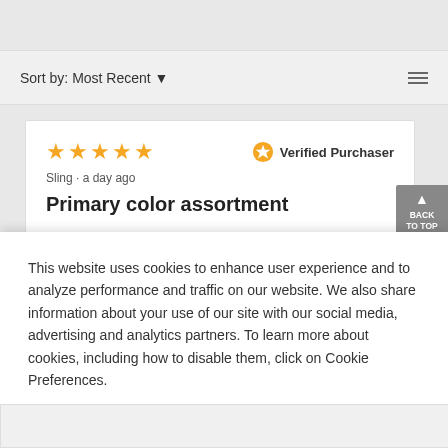Sort by: Most Recent ▼
★★★★★  Verified Purchaser
Sling · a day ago
Primary color assortment
This website uses cookies to enhance user experience and to analyze performance and traffic on our website. We also share information about your use of our site with our social media, advertising and analytics partners. To learn more about cookies, including how to disable them, click on Cookie Preferences.
Cookie Preferences
Got It